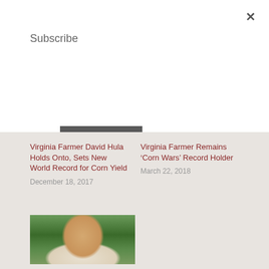Subscribe
Subscribe
×
Virginia Farmer David Hula Holds Onto, Sets New World Record for Corn Yield
December 18, 2017
Virginia Farmer Remains 'Corn Wars' Record Holder
March 22, 2018
[Figure (photo): Portrait photo of a middle-aged man with glasses smiling, with corn stalks in the background]
Virginia Farmer Smashes World Record for Corn Yield
December 16, 2019